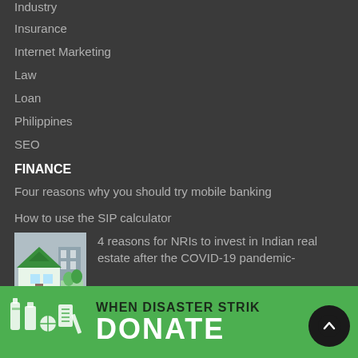Industry
Insurance
Internet Marketing
Law
Loan
Philippines
SEO
FINANCE
Four reasons why you should try mobile banking
How to use the SIP calculator
4 reasons for NRIs to invest in Indian real estate after the COVID-19 pandemic-
[Figure (photo): Thumbnail image of a house model with a face mask, representing real estate during COVID-19]
[Figure (infographic): Green donation banner with white icons of supplies on the left side. Text reads WHEN DISASTER STRIKES and DONATE in large letters.]